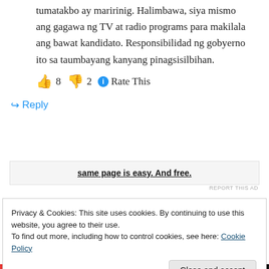tumatakbo ay maririnig. Halimbawa, siya mismo ang gagawa ng TV at radio programs para makilala ang bawat kandidato. Responsibilidad ng gobyerno ito sa taumbayang kanyang pinagsisilbihan.
👍 8 👎 2 ℹ Rate This
↪ Reply
[Figure (screenshot): Advertisement banner with bold underlined text: 'same page is easy. And free.']
REPORT THIS AD
Privacy & Cookies: This site uses cookies. By continuing to use this website, you agree to their use. To find out more, including how to control cookies, see here: Cookie Policy
Close and accept